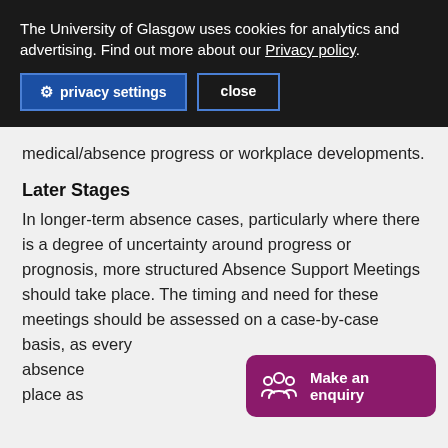The University of Glasgow uses cookies for analytics and advertising. Find out more about our Privacy policy.
medical/absence progress or workplace developments.
Later Stages
In longer-term absence cases, particularly where there is a degree of uncertainty around progress or prognosis, more structured Absence Support Meetings should take place. The timing and need for these meetings should be assessed on a case-by-case basis, as every absence [different] meetings may take place as
After a set period of time (e.g. 1 month).